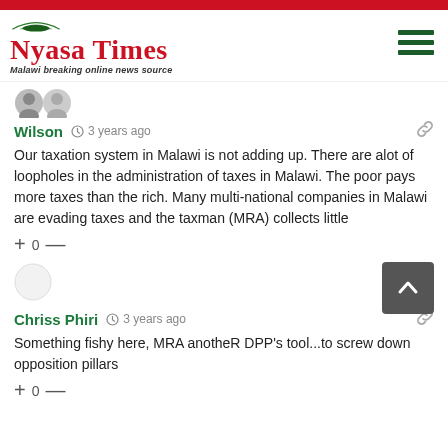Nyasa Times — Malawi breaking online news source
[Figure (illustration): Two overlapping avatar circles (user profile placeholder icons)]
Wilson   3 years ago
Our taxation system in Malawi is not adding up. There are alot of loopholes in the administration of taxes in Malawi. The poor pays more taxes than the rich. Many multi-national companies in Malawi are evading taxes and the taxman (MRA) collects little
+ 0 —
[Figure (illustration): Single empty avatar circle (user profile placeholder)]
Chriss Phiri   3 years ago
Something fishy here, MRA anotheR DPP's tool...to screw down opposition pillars
+ 0 —